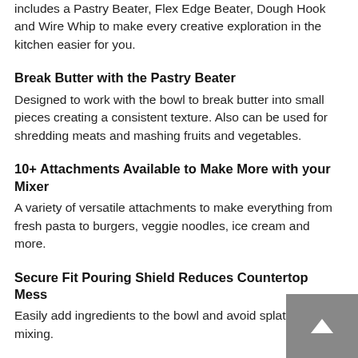includes a Pastry Beater, Flex Edge Beater, Dough Hook and Wire Whip to make every creative exploration in the kitchen easier for you.
Break Butter with the Pastry Beater
Designed to work with the bowl to break butter into small pieces creating a consistent texture. Also can be used for shredding meats and mashing fruits and vegetables.
10+ Attachments Available to Make More with your Mixer
A variety of versatile attachments to make everything from fresh pasta to burgers, veggie noodles, ice cream and more.
Secure Fit Pouring Shield Reduces Countertop Mess
Easily add ingredients to the bowl and avoid splatter while mixing.
3 and 5 Quart Bowls for Small or Large Batches
With 2 bowls you can easily make small or large